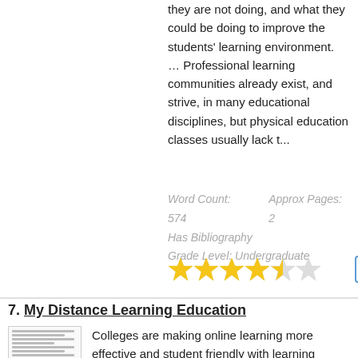they are not doing, and what they could be doing to improve the students' learning environment. … Professional learning communities already exist, and strive, in many educational disciplines, but physical education classes usually lack t...
Word Count: 574    Approx Pages: 2
Has Bibliography
Grade Level: Undergraduate
[Figure (other): Star rating: 4.5 out of 5 stars with Word, PDF, and save icons]
7. My Distance Learning Education
[Figure (other): Thumbnail image of a document page with small text lines]
Colleges are making online learning more effective and student friendly with learning programs such as the etudes initiative from Sierra College. … For